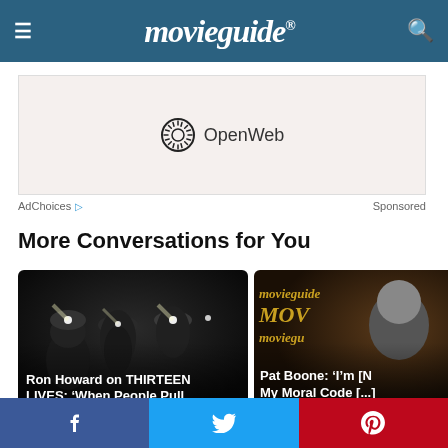movieguide®
[Figure (screenshot): OpenWeb advertisement banner with OpenWeb logo and text on light beige background]
AdChoices ▷   Sponsored
More Conversations for You
[Figure (photo): Dark image of people wearing mining helmets with headlamps, with overlay text: Ron Howard on THIRTEEN LIVES: 'When People Pull...']
[Figure (photo): Photo of older man against Movieguide backdrop, with overlay text: Pat Boone: 'I'm [N My Moral Code [...]']
[Figure (screenshot): Social share buttons bar: Facebook (blue), Twitter (light blue), Pinterest (red)]